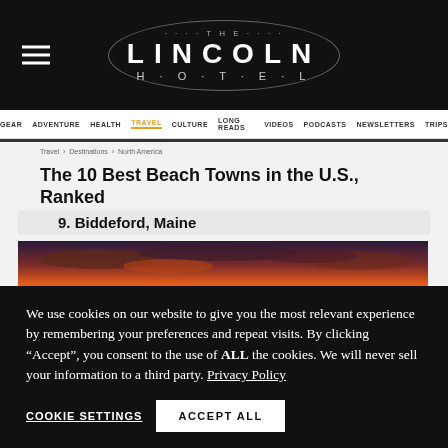THE LINCOLN HOTEL
GEAR ADVENTURE HEALTH TRAVEL CULTURE LONG READS VIDEOS PODCASTS NEWSLETTERS TRIPS
Travel > Destinations > North America
The 10 Best Beach Towns in the U.S., Ranked
9. Biddeford, Maine
[Figure (photo): Sunset over beach with orange and deep purple sky]
We use cookies on our website to give you the most relevant experience by remembering your preferences and repeat visits. By clicking “Accept”, you consent to the use of ALL the cookies. We will never sell your information to a third party. Privacy Policy
COOKIE SETTINGS   ACCEPT ALL